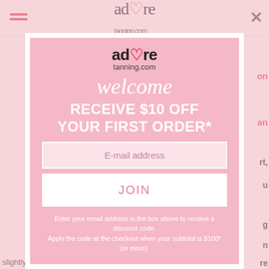[Figure (screenshot): Adore Tanning website with a pink modal popup offering $10 off first order for email signup]
welcome
RECEIVE $10 OFF YOUR FIRST ORDER*
E-mail address
JOIN
Enter your email address in the box above to receive a discount code. Apply the code at the checkout when your subtotal is $100* (or more).
slightly different applications, so always be sure to carefully read